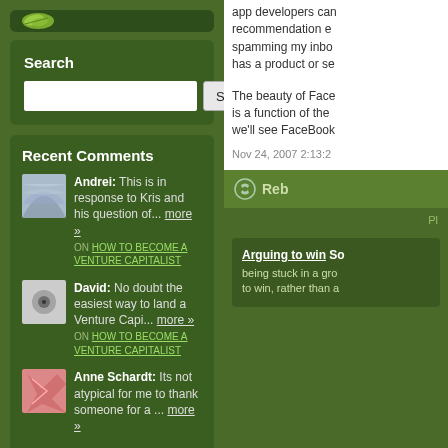[Figure (illustration): Green leaf/plant icon on dark green background widget]
Search
Search input box and button
Recent Comments
Andrei: This is in response to Kris and his question of... more » ON HOW TO BECOME A VENTURE CAPITALIST
David: No doubt the easiest way to land a Venture Capi... more » ON HOW TO BECOME A VENTURE CAPITALIST
Anne Schardt: Its not atypical for me to thank someone for a ... more »
app developers can recommendation e spamming my inbo has a product or se
The beauty of Face is a function of the we'll see FaceBook
Nov 24, 2007 2:13:2
Reb
PI
Arguing to win So being stuck in a gr to win, rather than a